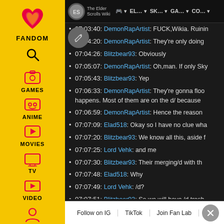[Figure (screenshot): Fandom sidebar with yellow background showing navigation icons for Games, Anime, Movies, TV, Video, and a user icon]
The Elder Scrolls Wiki navigation bar with icons: AA, EL..., SK..., GA..., CO...
07:03:40: DemonRapArtist: FUCK,Wikia. Ruinin
07:04:20: DemonRapArtist: They're only doing
07:04:26: Blitzbear93: Obviously
07:05:07: DemonRapArtist: Oh,man. If only Sky
07:05:43: Blitzbear93: Yep
07:06:33: DemonRapArtist: They're gonna floo happens. Most of them are on the d/ because
07:06:59: DemonRapArtist: Hence the reason
07:07:09: Elad518: Okay so I have no clue wha
07:07:20: Blitzbear93: We know all this, aside f
07:07:25: Lord Vehk: and me
07:07:30: Blitzbear93: Their merging/d with th
07:07:48: Elad518: Why
07:07:49: Lord Vehk: /d?
07:07:51: Blitzbear93: So we will have /d trash bu
07:07:56: Blitzbear93: Discussions yehk
Follow on IG  TikTok  Join Fan Lab  X